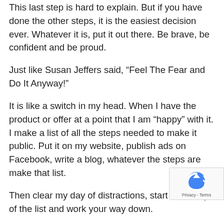This last step is hard to explain. But if you have done the other steps, it is the easiest decision ever. Whatever it is, put it out there. Be brave, be confident and be proud.
Just like Susan Jeffers said, “Feel The Fear and Do It Anyway!”
It is like a switch in my head. When I have the product or offer at a point that I am “happy” with it. I make a list of all the steps needed to make it public. Put it on my website, publish ads on Facebook, write a blog, whatever the steps are make that list.
Then clear my day of distractions, start at the top of the list and work your way down.
When you have no disruptions, you get into a rhythm and you are simply following a checklist. All the scary stories you were telling yourself